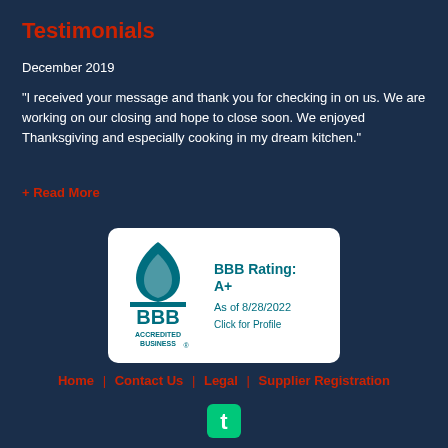Testimonials
December 2019
"I received your message and thank you for checking in on us. We are working on our closing and hope to close soon. We enjoyed Thanksgiving and especially cooking in my dream kitchen."
+ Read More
[Figure (logo): BBB Accredited Business logo with BBB Rating: A+ As of 8/28/2022. Click for Profile.]
Home | Contact Us | Legal | Supplier Registration
[Figure (logo): Thumbtack logo icon at bottom center]